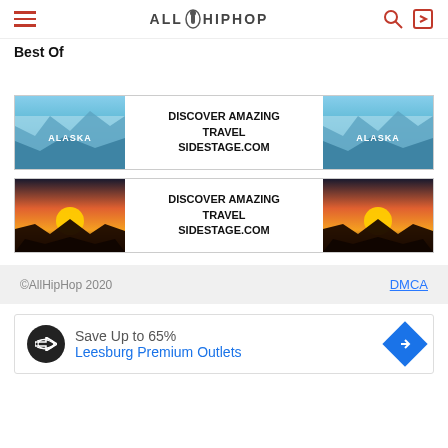ALLHIPHOP — navigation header with hamburger menu, search, and login icons
Best Of
[Figure (infographic): Advertisement banner row 1: Alaska glacier image on left, 'DISCOVER AMAZING TRAVEL SIDESTAGE.COM' text in center, Alaska glacier image on right]
[Figure (infographic): Advertisement banner row 2: Sunset mountain image on left, 'DISCOVER AMAZING TRAVEL SIDESTAGE.COM' text in center, sunset mountain image on right]
©AllHipHop 2020   DMCA
[Figure (infographic): Ad banner: Save Up to 65% Leesburg Premium Outlets, with circular logo and navigation arrow icon]